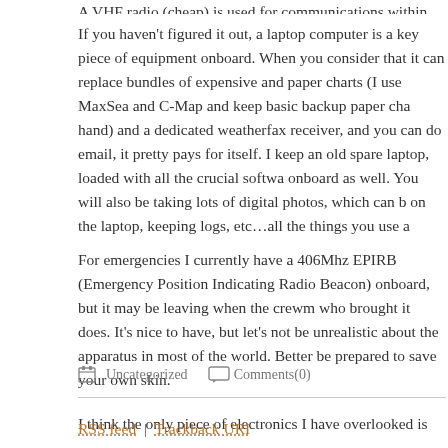A VHF radio (cheap) is used for communications within 25-45 miles.
If you haven't figured it out, a laptop computer is a key piece of equipment onboard. When you consider that it can replace bundles of expensive and paper charts (I use MaxSea and C-Map and keep basic backup paper cha hand) and a dedicated weatherfax receiver, and you can do email, it pretty pays for itself. I keep an old spare laptop, loaded with all the crucial softwa onboard as well. You will also be taking lots of digital photos, which can b on the laptop, keeping logs, etc…all the things you use a computer for.
For emergencies I currently have a 406Mhz EPIRB (Emergency Position Indicating Radio Beacon) onboard, but it may be leaving when the crewm who brought it does. It's nice to have, but let's not be unrealistic about the apparatus in most of the world. Better be prepared to save your own skin.
I think the only piece of electronics I have overlooked is the stereo, an AM cassette with a 12-CD stacker, two Bose waterproof box speakers in the c two 6×9 speakers in the main salon. This is all just automotive equipment over 700 CD's and about a hundred taped bootlegs of you-know-who. Mo sailing has a soundtrack.
Uncategorized   Comments(0)
RSS feed | Trackback URI